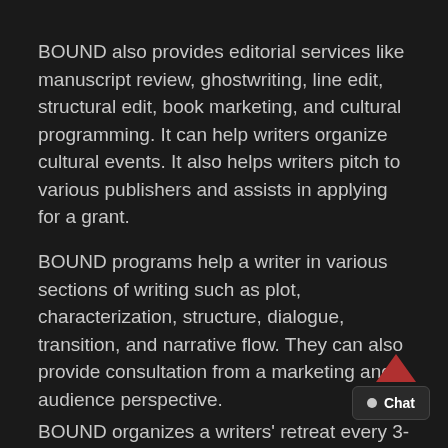BOUND also provides editorial services like manuscript review, ghostwriting, line edit, structural edit, book marketing, and cultural programming. It can help writers organize cultural events. It also helps writers pitch to various publishers and assists in applying for a grant.
BOUND programs help a writer in various sections of writing such as plot, characterization, structure, dialogue, transition, and narrative flow. They can also provide consultation from a marketing and audience perspective.
BOUND organizes a writers' retreat every 3-4